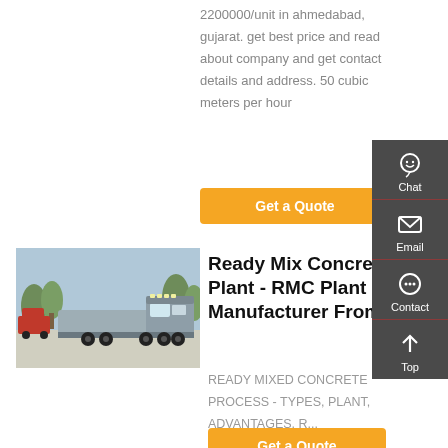2200000/unit in ahmedabad, gujarat. get best price and read about company and get contact details and address. 50 cubic meters per hour
Get a Quote
[Figure (photo): Silver heavy-duty truck/tractor unit parked in an outdoor area with trees and a red truck visible in the background]
Ready Mix Concrete Plant - RMC Plant Manufacturer From
READY MIXED CONCRETE PROCESS - TYPES, PLANT, ADVANTAGES, R...
Get a Quote